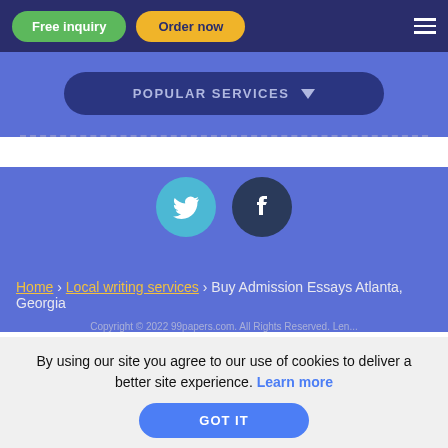[Figure (screenshot): Navigation bar with Free inquiry (green) and Order now (yellow) buttons, and hamburger menu icon on dark navy background]
[Figure (screenshot): Popular Services dropdown button on blue background]
[Figure (screenshot): Twitter and Facebook social media icons on blue background]
Home › Local writing services › Buy Admission Essays Atlanta, Georgia
Copyright © 2022 99papers.com. All Rights Reserved. Len...
By using our site you agree to our use of cookies to deliver a better site experience. Learn more
GOT IT